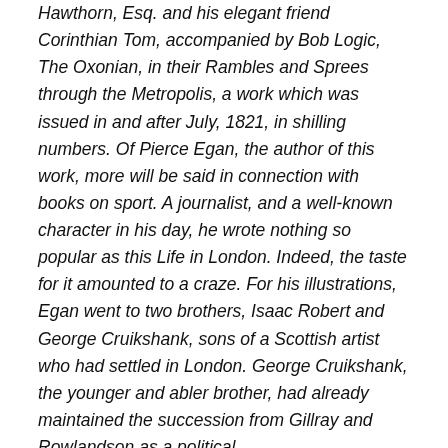Hawthorn, Esq. and his elegant friend Corinthian Tom, accompanied by Bob Logic, The Oxonian, in their Rambles and Sprees through the Metropolis, a work which was issued in and after July, 1821, in shilling numbers. Of Pierce Egan, the author of this work, more will be said in connection with books on sport. A journalist, and a well-known character in his day, he wrote nothing so popular as this Life in London. Indeed, the taste for it amounted to a craze. For his illustrations, Egan went to two brothers, Isaac Robert and George Cruikshank, sons of a Scottish artist who had settled in London. George Cruikshank, the younger and abler brother, had already maintained the succession from Gillray and Rowlandson as a political